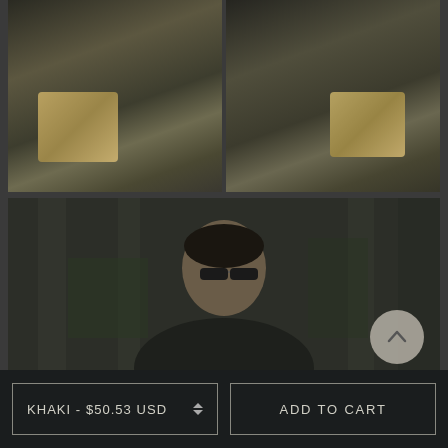[Figure (photo): Two side-by-side photos of a man wearing camouflage pants and carrying a khaki tactical sling bag, shown from different angles on a cobblestone outdoor setting.]
[Figure (photo): A man wearing sunglasses and a dark t-shirt looking back over his shoulder, in an outdoor urban setting with columns and greenery in the background.]
KHAKI - $50.53 USD
ADD TO CART